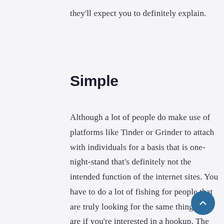they'll expect you to definitely explain.
Simple
Although a lot of people do make use of platforms like Tinder or Grinder to attach with individuals for a basis that is one-night-stand that's definitely not the intended function of the internet sites. You have to do a lot of fishing for people that are truly looking for the same thing you are if you're interested in a hookup. The algorithm